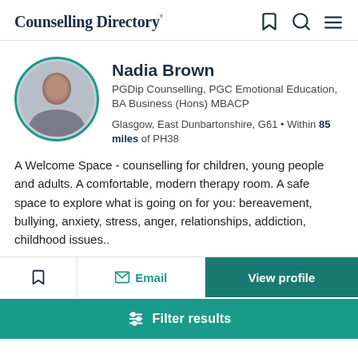Counselling Directory
Nadia Brown
PGDip Counselling, PGC Emotional Education, BA Business (Hons) MBACP
Glasgow, East Dunbartonshire, G61 • Within 85 miles of PH38
A Welcome Space - counselling for children, young people and adults. A comfortable, modern therapy room. A safe space to explore what is going on for you: bereavement, bullying, anxiety, stress, anger, relationships, addiction, childhood issues..
Email
View profile
Filter results